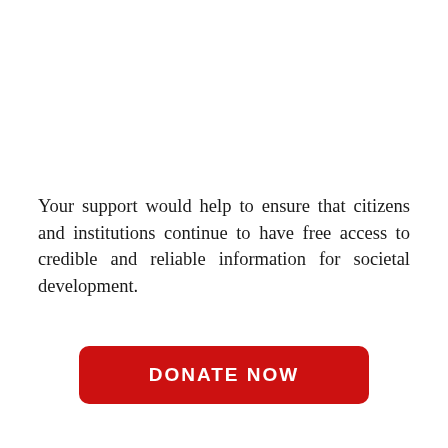Your support would help to ensure that citizens and institutions continue to have free access to credible and reliable information for societal development.
DONATE NOW